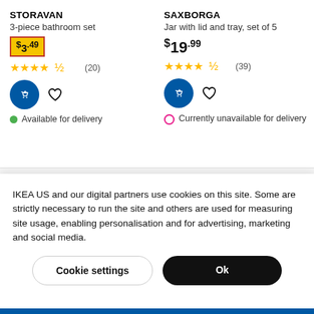STORAVAN
3-piece bathroom set
$3.49
★★★★½ (20)
Available for delivery
SAXBORGA
Jar with lid and tray, set of 5
$19.99
★★★★½ (39)
Currently unavailable for delivery
ÅBY
$3
IKEA US and our digital partners use cookies on this site. Some are strictly necessary to run the site and others are used for measuring site usage, enabling personalisation and for advertising, marketing and social media.
Cookie settings
Ok